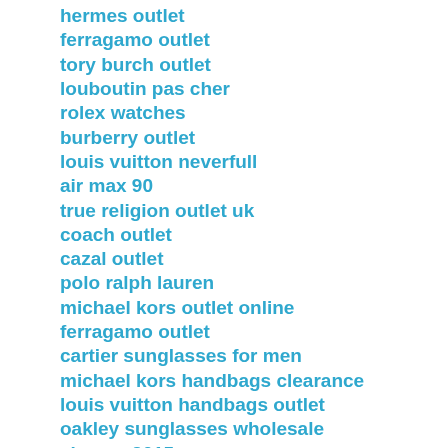hermes outlet
ferragamo outlet
tory burch outlet
louboutin pas cher
rolex watches
burberry outlet
louis vuitton neverfull
air max 90
true religion outlet uk
coach outlet
cazal outlet
polo ralph lauren
michael kors outlet online
ferragamo outlet
cartier sunglasses for men
michael kors handbags clearance
louis vuitton handbags outlet
oakley sunglasses wholesale
air max 2015
mulberry handbags sale
michael kors outlet
lululemon uk
ray ban sunglasses